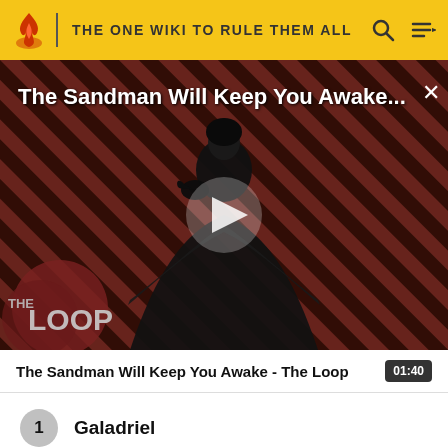THE ONE WIKI TO RULE THEM ALL
[Figure (screenshot): Video thumbnail showing a dark-cloaked figure against a red diagonal stripe background with a play button in the center, 'THE LOOP' logo in the lower left, and a title overlay reading 'The Sandman Will Keep You Awake...']
The Sandman Will Keep You Awake - The Loop  01:40
1  Galadriel